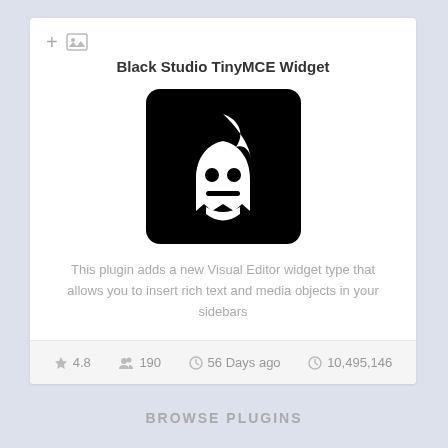Black Studio TinyMCE Widget
[Figure (logo): Black Studio TinyMCE Widget plugin logo: white flame/ghost face icon on black rounded-square background]
This plugin adds a new Visual Editor widget type that allows you to insert rich text and media objects in your sidebars
★ 4.8   👥 190   🕐 56 Days ago   🕐 10,495,146
BROWSE PLUGINS